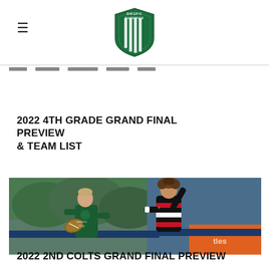DRUFC Randwick (logo)
2022 4TH GRADE GRAND FINAL PREVIEW & TEAM LIST
[Figure (photo): Two rugby players during a match — one in a dark green jersey holding a rugby ball, another in a black and red/white hooped jersey reaching out. Advertisement hoardings visible in background.]
2022 2ND COLTS GRAND FINAL PREVIEW